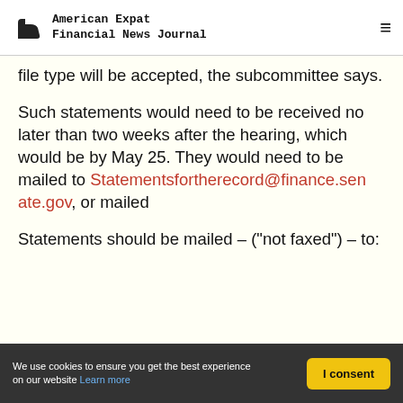American Expat Financial News Journal
file type will be accepted, the subcommittee says.
Such statements would need to be received no later than two weeks after the hearing, which would be by May 25. They would need to be mailed to Statementsfortherecord@finance.senate.gov, or mailed
Statements should be mailed – ("not faxed") – to:
We use cookies to ensure you get the best experience on our website Learn more | I consent